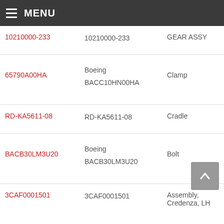MENU
| Part Number | Manufacturer / Part | Description |
| --- | --- | --- |
| 10210000-233 | 10210000-233 | GEAR ASSY |
| 65790A00HA | Boeing BACC10HN00HA | Clamp |
| RD-KA5611-08 | RD-KA5611-08 | Cradle |
| BACB30LM3U20 | Boeing BACB30LM3U20 | Bolt |
| 3CAF0001501 | 3CAF0001501 | Assembly, Credenza, LH |